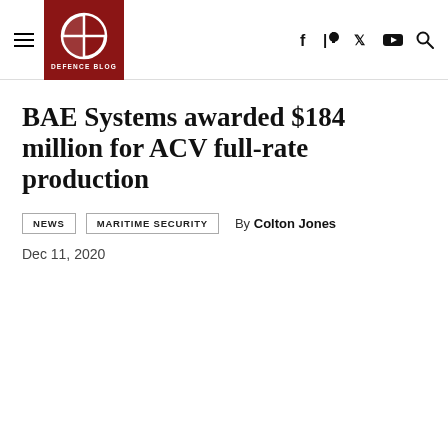Defence Blog — BAE Systems awarded $184 million for ACV full-rate production
BAE Systems awarded $184 million for ACV full-rate production
NEWS   MARITIME SECURITY   By Colton Jones
Dec 11, 2020